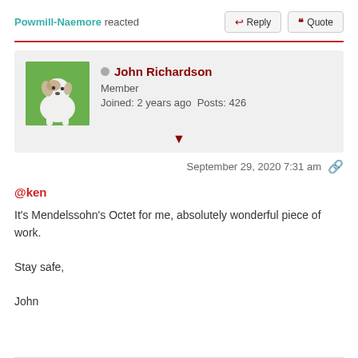Powmill-Naemore reacted
Reply  Quote
John Richardson
Member
Joined: 2 years ago  Posts: 426
September 29, 2020 7:31 am
@ken
It's Mendelssohn's Octet for me, absolutely wonderful piece of work.

Stay safe,

John